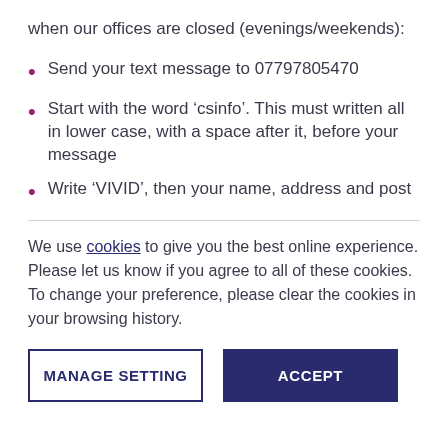when our offices are closed (evenings/weekends):
Send your text message to 07797805470
Start with the word ‘csinfo’. This must written all in lower case, with a space after it, before your message
Write ‘VIVID’, then your name, address and post
We use cookies to give you the best online experience. Please let us know if you agree to all of these cookies. To change your preference, please clear the cookies in your browsing history.